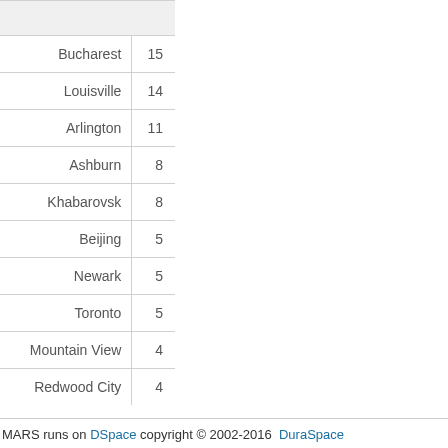|  |  |
| --- | --- |
| Bucharest | 15 |
| Louisville | 14 |
| Arlington | 11 |
| Ashburn | 8 |
| Khabarovsk | 8 |
| Beijing | 5 |
| Newark | 5 |
| Toronto | 5 |
| Mountain View | 4 |
| Redwood City | 4 |
MARS runs on DSpace copyright © 2002-2016  DuraSpace